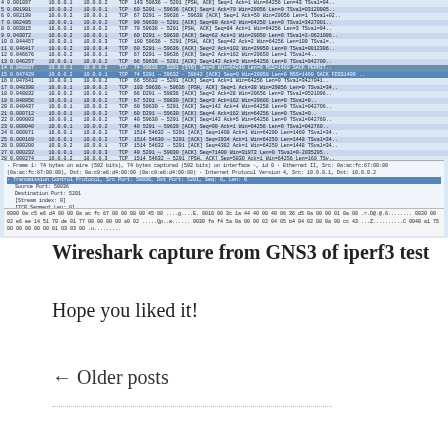[Figure (screenshot): Wireshark packet capture screenshot showing TCP packets between 10.0.0.1 and 10.0.0.2, with packet detail panel showing Transmission Control Protocol info and hex dump panel below]
Wireshark capture from GNS3 of iperf3 test
Hope you liked it!
← Older posts